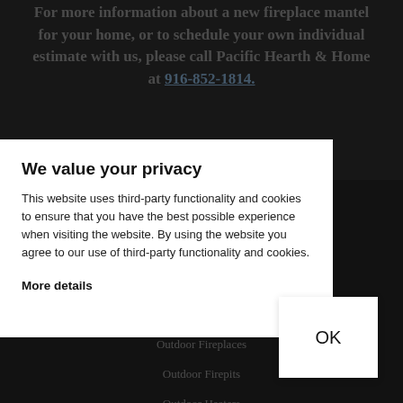For more information about a new fireplace mantel for your home, or to schedule your own individual estimate with us, please call Pacific Hearth & Home at 916-852-1814.
Products
Fireplaces
Fireplace Inserts
Fireplace Mantels
Hearth Construction
Outdoor Fireplaces
Outdoor Firepits
Outdoor Heaters
Outdoor Grills & Pizza Ovens
We value your privacy
This website uses third-party functionality and cookies to ensure that you have the best possible experience when visiting the website. By using the website you agree to our use of third-party functionality and cookies.
More details